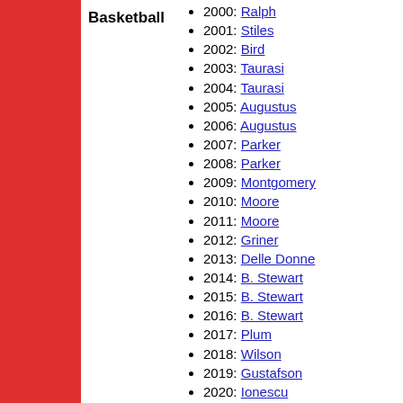Basketball
2000: Ralph
2001: Stiles
2002: Bird
2003: Taurasi
2004: Taurasi
2005: Augustus
2006: Augustus
2007: Parker
2008: Parker
2009: Montgomery
2010: Moore
2011: Moore
2012: Griner
2013: Delle Donne
2014: B. Stewart
2015: B. Stewart
2016: B. Stewart
2017: Plum
2018: Wilson
2019: Gustafson
2020: Ionescu
2021: Smith
2022: Boston
1977: J. Brown